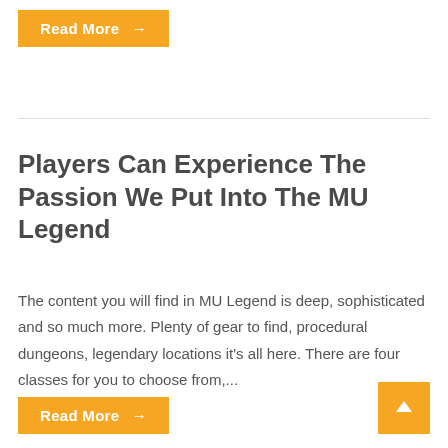Read More →
Players Can Experience The Passion We Put Into The MU Legend
The content you will find in MU Legend is deep, sophisticated and so much more. Plenty of gear to find, procedural dungeons, legendary locations it's all here. There are four classes for you to choose from,...
Read More →